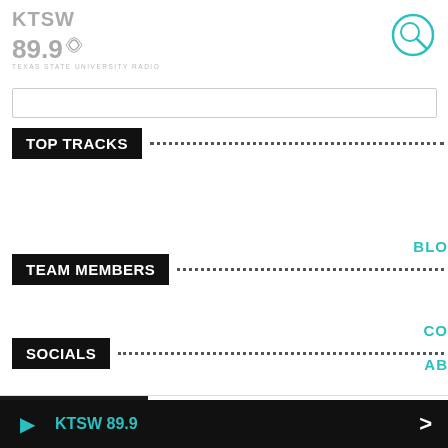[Figure (logo): KTSW 89.9 radio station logo in grey with stylized sound wave icon]
[Figure (other): Search icon - teal circle with magnifying glass]
TOP TRACKS
TEAM MEMBERS
BLO
SOCIALS
CO
AB
ON
1 — Household Name — MOMMA
KTSW 89.9